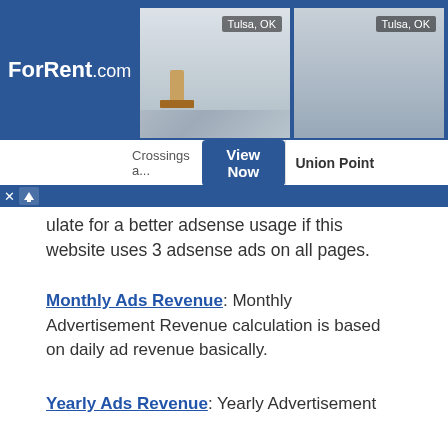[Figure (screenshot): ForRent.com advertisement banner showing two apartment images labeled Tulsa, OK, with property names 'Crossings a...' and 'Union Point', and a 'View Now' button]
ulate for a better adsense usage if this website uses 3 adsense ads on all pages.
Monthly Ads Revenue: Monthly Advertisement Revenue calculation is based on daily ad revenue basically.
Yearly Ads Revenue: Yearly Advertisement Revenue calculation is based on daily ad revenue basically.
Moz Links: Moz Link count. This value gives only the backlinks from another domains, it doesn't include internal(backlinks from the same website) backlinks count. Low but quality